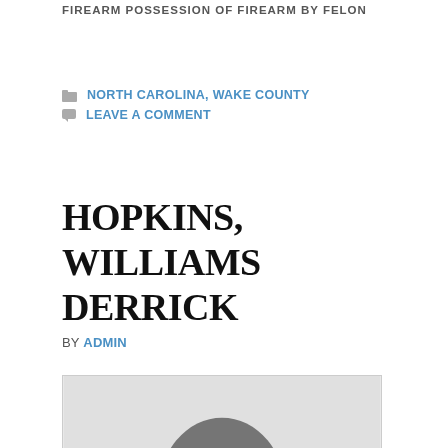FIREARM POSSESSION OF FIREARM BY FELON
NORTH CAROLINA, WAKE COUNTY
LEAVE A COMMENT
HOPKINS, WILLIAMS DERRICK
BY ADMIN
[Figure (photo): Generic placeholder silhouette mugshot photo of a person from shoulders up, gray background, no identifiable features.]